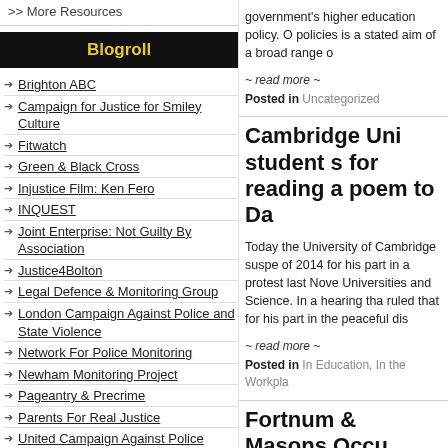>> More Resources
Blogroll
Brighton ABC
Campaign for Justice for Smiley Culture
Fitwatch
Green & Black Cross
Injustice Film: Ken Fero
INQUEST
Joint Enterprise: Not Guilty By Association
Justice4Bolton
Legal Defence & Monitoring Group
London Campaign Against Police and State Violence
Network For Police Monitoring
Newham Monitoring Project
Pageantry & Precrime
Parents For Real Justice
United Campaign Against Police
government's higher education policy. O policies is a stated aim of a broad range o
~ read more ~
Posted in Uncategorized
Cambridge Uni student s for reading a poem to Da
Today the University of Cambridge suspe of 2014 for his part in a protest last Nove Universities and Science. In a hearing tha ruled that for his part in the peaceful dis
~ read more ~
Posted in In Education, In the Workpla
Fortnum & Masons Occu
Trial B defendants' statement Today, like guilty of "entering a shop with the intenti